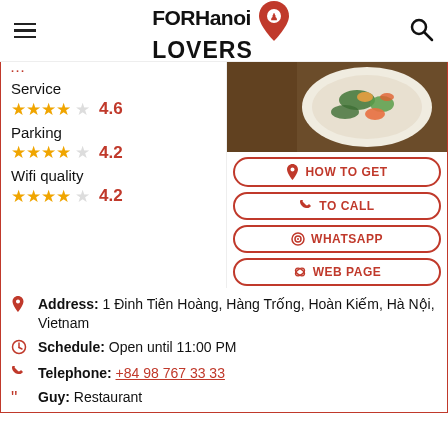FOR Hanoi LOVERS
Service 4.6
Parking 4.2
Wifi quality 4.2
[Figure (photo): Food photo showing a plate with salad/vegetables on a dark wooden table]
HOW TO GET
TO CALL
WHATSAPP
WEB PAGE
Address: 1 Đinh Tiên Hoàng, Hàng Trống, Hoàn Kiếm, Hà Nội, Vietnam
Schedule: Open until 11:00 PM
Telephone: +84 98 767 33 33
Guy: Restaurant